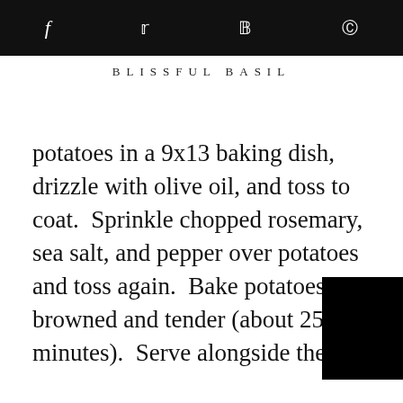f  twitter  p  reddit (social share icons)
BLISSFUL BASIL
potatoes in a 9x13 baking dish, drizzle with olive oil, and toss to coat.  Sprinkle chopped rosemary, sea salt, and pepper over potatoes and toss again.  Bake potatoes until browned and tender (about 25 minutes).  Serve alongside the ba
[Figure (screenshot): Video player overlay showing a gray background with a cyan/turquoise triangular play button icon (Invidious-style), partially covered by black bars on sides]